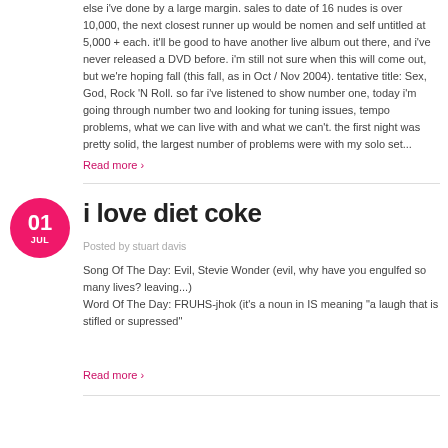else i've done by a large margin. sales to date of 16 nudes is over 10,000, the next closest runner up would be nomen and self untitled at 5,000 + each. it'll be good to have another live album out there, and i've never released a DVD before. i'm still not sure when this will come out, but we're hoping fall (this fall, as in Oct / Nov 2004). tentative title: Sex, God, Rock 'N Roll. so far i've listened to show number one, today i'm going through number two and looking for tuning issues, tempo problems, what we can live with and what we can't. the first night was pretty solid, the largest number of problems were with my solo set...
Read more ›
i love diet coke
Posted by stuart davis
Song Of The Day: Evil, Stevie Wonder (evil, why have you engulfed so many lives? leaving...)
Word Of The Day: FRUHS-jhok (it's a noun in IS meaning "a laugh that is stifled or supressed"
Read more ›